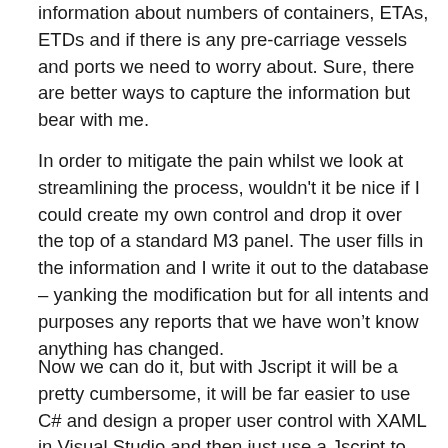information about numbers of containers, ETAs, ETDs and if there is any pre-carriage vessels and ports we need to worry about. Sure, there are better ways to capture the information but bear with me.
In order to mitigate the pain whilst we look at streamlining the process, wouldn't it be nice if I could create my own control and drop it over the top of a standard M3 panel. The user fills in the information and I write it out to the database – yanking the modification but for all intents and purposes any reports that we have won't know anything has changed.
Now we can do it, but with Jscript it will be a pretty cumbersome, it will be far easier to use C# and design a proper user control with XAML in Visual Studio and then just use a Jscript to call functions from my C# code.